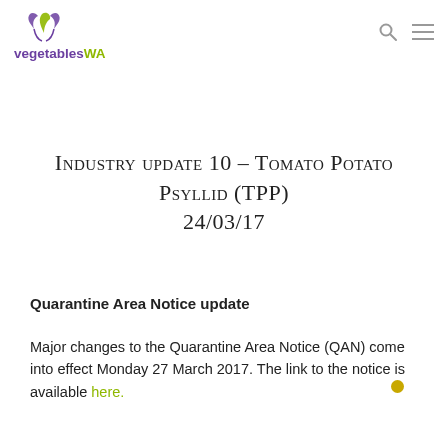vegetablesWA
Industry update 10 – Tomato Potato Psyllid (TPP) 24/03/17
Quarantine Area Notice update
Major changes to the Quarantine Area Notice (QAN) come into effect Monday 27 March 2017. The link to the notice is available here.